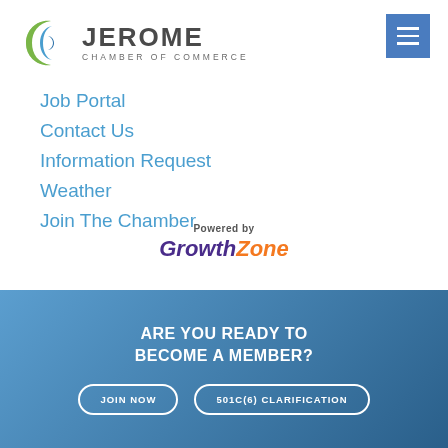[Figure (logo): Jerome Chamber of Commerce logo with circular green and blue icon and text]
Job Portal
Contact Us
Information Request
Weather
Join The Chamber
[Figure (logo): Powered by GrowthZone logo]
ARE YOU READY TO BECOME A MEMBER?
JOIN NOW
501C(6) CLARIFICATION